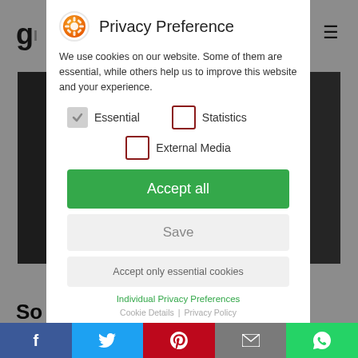[Figure (screenshot): Background webpage with dark overlay showing partial text and navigation elements]
Privacy Preference
We use cookies on our website. Some of them are essential, while others help us to improve this website and your experience.
Essential (checked)
Statistics (unchecked)
External Media (unchecked)
Accept all
Save
Accept only essential cookies
Individual Privacy Preferences
Cookie Details | Privacy Policy